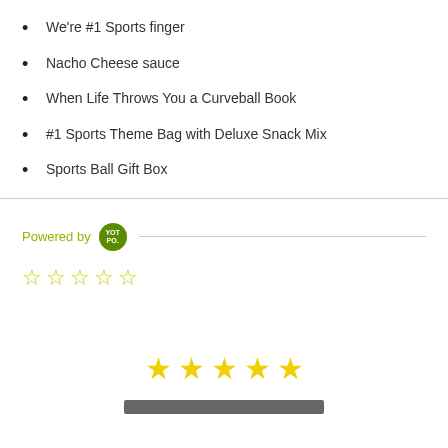We're #1 Sports finger
Nacho Cheese sauce
When Life Throws You a Curveball Book
#1 Sports Theme Bag with Deluxe Snack Mix
Sports Ball Gift Box
Powered by YOTPO.
[Figure (other): Five empty star rating icons in yellow-green color]
[Figure (other): Five full yellow star rating icons centered on page]
[Figure (other): Gray bar at bottom of page]